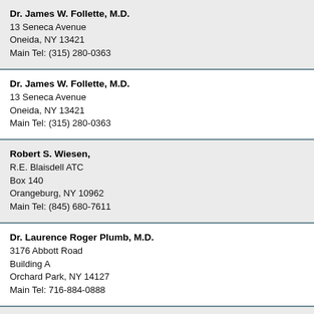Dr. James W. Follette, M.D.
13 Seneca Avenue
Oneida, NY 13421
Main Tel: (315) 280-0363
Dr. James W. Follette, M.D.
13 Seneca Avenue
Oneida, NY 13421
Main Tel: (315) 280-0363
Robert S. Wiesen,
R.E. Blaisdell ATC
Box 140
Orangeburg, NY 10962
Main Tel: (845) 680-7611
Dr. Laurence Roger Plumb, M.D.
3176 Abbott Road
Building A
Orchard Park, NY 14127
Main Tel: 716-884-0888
Dr. Paul T. Biddle, M.D.
200 Sterling Drive
Suite 202
Orchard Park, NY 14127